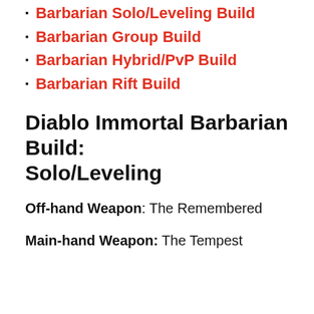Barbarian Solo/Leveling Build
Barbarian Group Build
Barbarian Hybrid/PvP Build
Barbarian Rift Build
Diablo Immortal Barbarian Build: Solo/Leveling
Off-hand Weapon: The Remembered
Main-hand Weapon: The Tempest